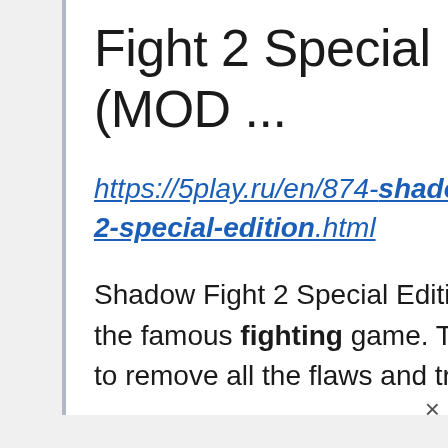Fight 2 Special Edition 1.0.10 APK (MOD ...
https://5play.ru/en/874-shadow-fight-2-special-edition.html
Shadow Fight 2 Special Edition – a new version of the second part of the famous fighting game. The developers of the studio Nekki decided to remove all the flaws and transform